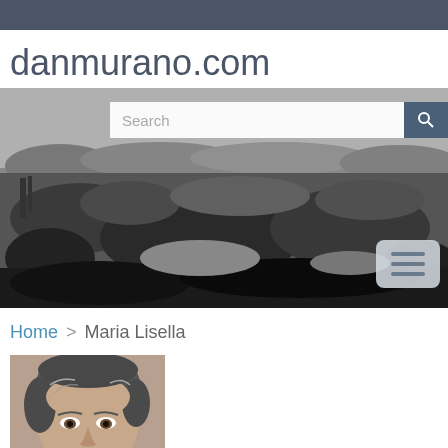danmurano.com
[Figure (screenshot): Black and white landscape/nature header image with search bar and hamburger menu button overlaid]
Home > Maria Lisella
[Figure (photo): Portrait photo of a woman (Maria Lisella) with short grey hair, partial view]